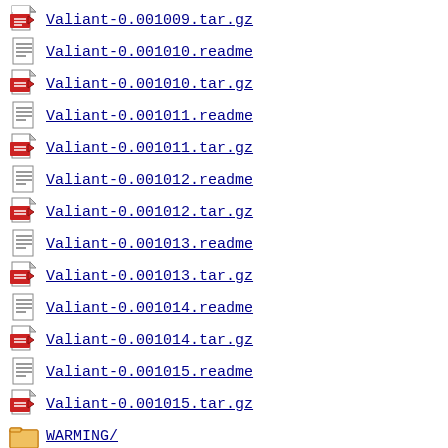Valiant-0.001009.tar.gz
Valiant-0.001010.readme
Valiant-0.001010.tar.gz
Valiant-0.001011.readme
Valiant-0.001011.tar.gz
Valiant-0.001012.readme
Valiant-0.001012.tar.gz
Valiant-0.001013.readme
Valiant-0.001013.tar.gz
Valiant-0.001014.readme
Valiant-0.001014.tar.gz
Valiant-0.001015.readme
Valiant-0.001015.tar.gz
WARMING/
WEAV/
WINTER/
WOREMACX/